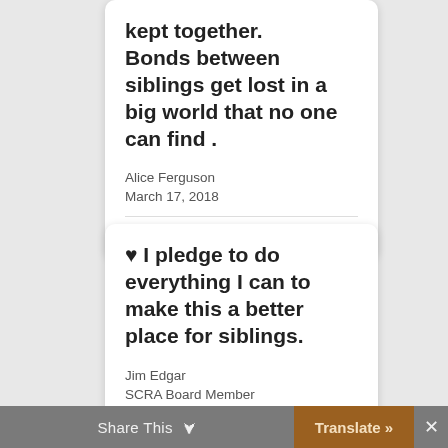kept together. Bonds between siblings get lost in a big world that no one can find .
Alice Ferguson
March 17, 2018
♥ I pledge to do everything I can to make this a better place for siblings.
Jim Edgar
SCRA Board Member
March 16, 2018
Share This ∨   Translate »  ✕